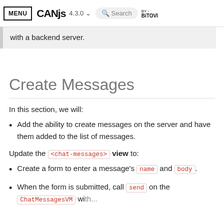MENU  canjs  4.3.0  Search  BY BITOVI
with a backend server.
Create Messages
In this section, we will:
Add the ability to create messages on the server and have them added to the list of messages.
Update the <chat-messages> view to:
Create a form to enter a message's name and body.
When the form is submitted, call send on the ChatMessagesVM with...